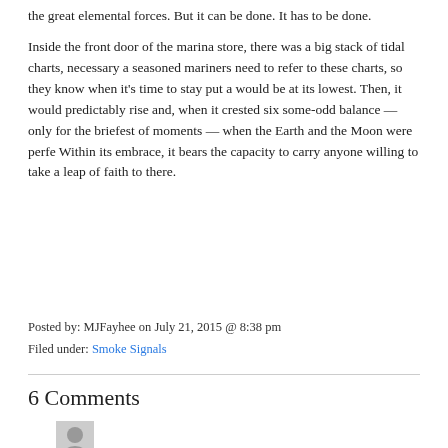the great elemental forces. But it can be done. It has to be done.
Inside the front door of the marina store, there was a big stack of tidal charts, necessary a seasoned mariners need to refer to these charts, so they know when it's time to stay put a would be at its lowest. Then, it would predictably rise and, when it crested six some-odd balance — only for the briefest of moments — when the Earth and the Moon were perfe Within its embrace, it bears the capacity to carry anyone willing to take a leap of faith to there.
Posted by: MJFayhee on July 21, 2015 @ 8:38 pm
Filed under: Smoke Signals
6 Comments
[Figure (illustration): User avatar placeholder — grey silhouette icon]
Brilliantly str...for...much Bob